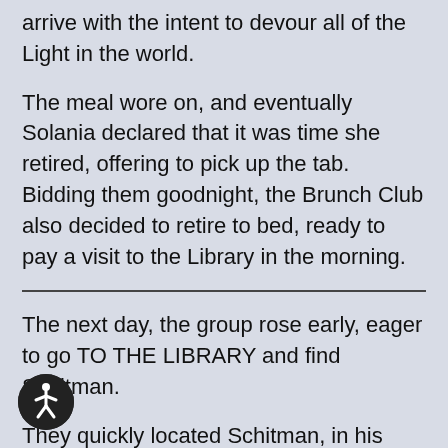arrive with the intent to devour all of the Light in the world.
The meal wore on, and eventually Solania declared that it was time she retired, offering to pick up the tab. Bidding them goodnight, the Brunch Club also decided to retire to bed, ready to pay a visit to the Library in the morning.
The next day, the group rose early, eager to go TO THE LIBRARY and find Schitman.
They quickly located Schitman, in his normal spot, deep in the study of scrolls and books scattered about him.
[Figure (logo): Accessibility icon: circular black badge with white wheelchair user symbol]